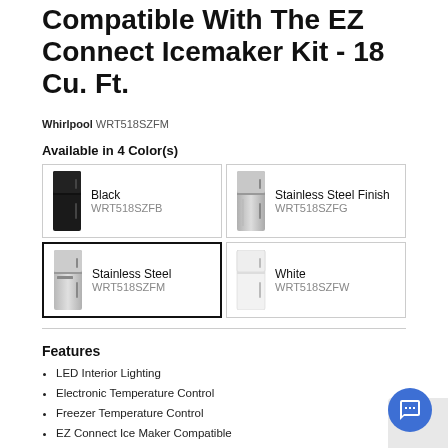Compatible With The EZ Connect Icemaker Kit - 18 Cu. Ft.
Whirlpool WRT518SZFM
Available in 4 Color(s)
| Image | Color | SKU |
| --- | --- | --- |
| [black fridge image] | Black | WRT518SZFB |
| [stainless finish fridge image] | Stainless Steel Finish | WRT518SZFG |
| [stainless steel fridge image] | Stainless Steel | WRT518SZFM |
| [white fridge image] | White | WRT518SZFW |
Features
LED Interior Lighting
Electronic Temperature Control
Freezer Temperature Control
EZ Connect Ice Maker Compatible